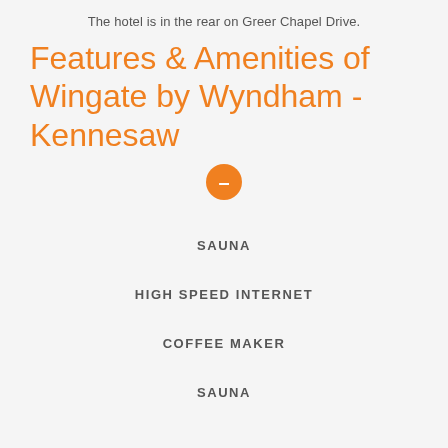The hotel is in the rear on Greer Chapel Drive.
Features & Amenities of Wingate by Wyndham - Kennesaw
[Figure (other): Orange circle with minus/dash symbol, used as a UI toggle or collapse button]
SAUNA
HIGH SPEED INTERNET
COFFEE MAKER
SAUNA